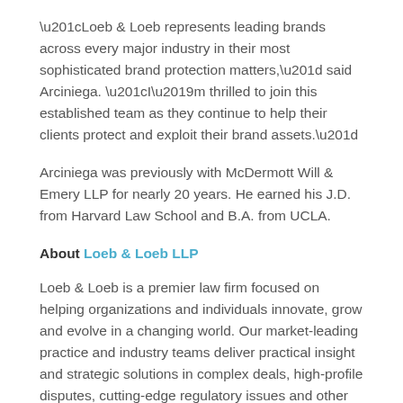“Loeb & Loeb represents leading brands across every major industry in their most sophisticated brand protection matters,” said Arciniega. “I’m thrilled to join this established team as they continue to help their clients protect and exploit their brand assets.”
Arciniega was previously with McDermott Will & Emery LLP for nearly 20 years. He earned his J.D. from Harvard Law School and B.A. from UCLA.
About Loeb & Loeb LLP
Loeb & Loeb is a premier law firm focused on helping organizations and individuals innovate, grow and evolve in a changing world. Our market-leading practice and industry teams deliver practical insight and strategic solutions in complex deals, high-profile disputes, cutting-edge regulatory issues and other matters critical to our clients’ success. The firm has in excess of 400 lawyers across eight offices in the